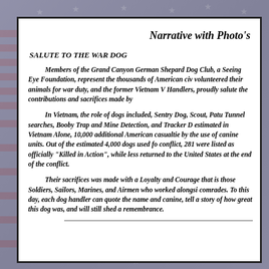Narrative with Photo's
SALUTE TO THE WAR DOG
Members of the Grand Canyon German Shepard Dog Club, a Seeing Eye Foundation, represent the thousands of American civ volunteered their animals for war duty, and the former Vietnam V Handlers, proudly salute the contributions and sacrifices made by
In Vietnam, the role of dogs included, Sentry Dog, Scout, Pat Tunnel searches, Booby Trap and Mine Detection, and Tracker D estimated in Vietnam Alone, 10,000 additional American casualti by the use of canine units. Out of the estimated 4,000 dogs used f conflict, 281 were listed as officially "Killed in Action", while less returned to the United States at the end of the conflict.
Their sacrifices was made with a Loyalty and Courage that is those Soldiers, Sailors, Marines, and Airmen who worked alongsi comrades. To this day, each dog handler can quote the name and canine, tell a story of how great this dog was, and will still shed a remembrance.